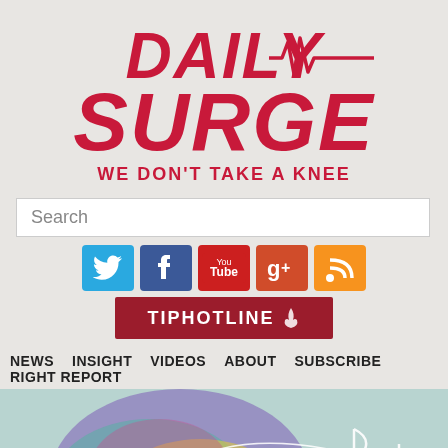[Figure (logo): Daily Surge logo with red bold text 'DAILY SURGE' and tagline 'WE DON'T TAKE A KNEE', with an EKG/heartbeat line graphic]
Search
[Figure (infographic): Row of social media icons: Twitter (blue bird), Facebook (blue f), YouTube (red You Tube), Google+ (orange g+), RSS (orange signal icon), followed by a TIP HOTLINE button in dark red]
NEWS  INSIGHT  VIDEOS  ABOUT  SUBSCRIBE  RIGHT REPORT
[Figure (illustration): Colorful watercolor splash background with music notes and staff lines in white]